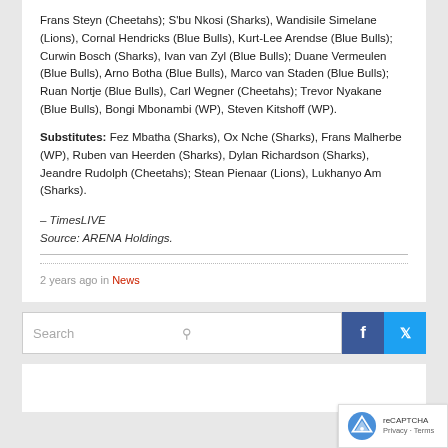Frans Steyn (Cheetahs); S'bu Nkosi (Sharks), Wandisile Simelane (Lions), Cornal Hendricks (Blue Bulls), Kurt-Lee Arendse (Blue Bulls); Curwin Bosch (Sharks), Ivan van Zyl (Blue Bulls); Duane Vermeulen (Blue Bulls), Arno Botha (Blue Bulls), Marco van Staden (Blue Bulls); Ruan Nortje (Blue Bulls), Carl Wegner (Cheetahs); Trevor Nyakane (Blue Bulls), Bongi Mbonambi (WP), Steven Kitshoff (WP).
Substitutes: Fez Mbatha (Sharks), Ox Nche (Sharks), Frans Malherbe (WP), Ruben van Heerden (Sharks), Dylan Richardson (Sharks), Jeandre Rudolph (Cheetahs); Stean Pienaar (Lions), Lukhanyo Am (Sharks).
– TimesLIVE
Source: ARENA Holdings.
2 years ago in News